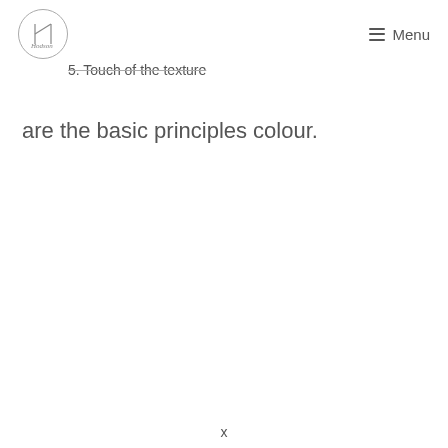Menu
5. Touch of the texture
are the basic principles colour.
x